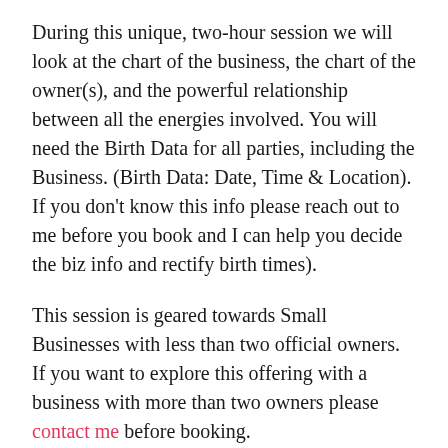During this unique, two-hour session we will look at the chart of the business, the chart of the owner(s), and the powerful relationship between all the energies involved. You will need the Birth Data for all parties, including the Business. (Birth Data: Date, Time & Location). If you don't know this info please reach out to me before you book and I can help you decide the biz info and rectify birth times).
This session is geared towards Small Businesses with less than two official owners. If you want to explore this offering with a business with more than two owners please contact me before booking.
An Abundant Business Astrology Session is a qualified business expense. I have been a Business Consultant, Bookkeeper, Operations Manager, Event Coordinator...